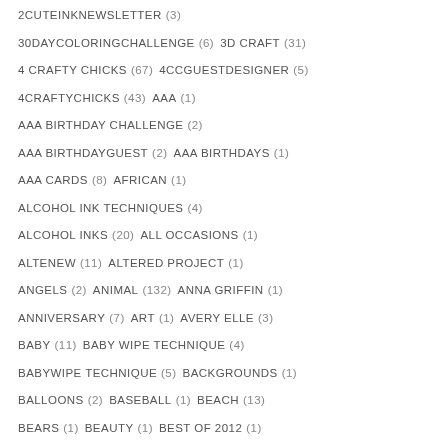2CUTEINKNEWSLETTER (3)
30DAYCOLORINGCHALLENGE (6)  3D CRAFT (31)
4 CRAFTY CHICKS (67)  4CCGUESTDESIGNER (5)
4CRAFTYCHICKS (43)  AAA (1)
AAA BIRTHDAY CHALLENGE (2)
AAA BIRTHDAYGUEST (2)  AAA BIRTHDAYS (1)
AAA CARDS (8)  AFRICAN (1)
ALCOHOL INK TECHNIQUES (4)
ALCOHOL INKS (20)  ALL OCCASIONS (1)
ALTENEW (11)  ALTERED PROJECT (1)
ANGELS (2)  ANIMAL (132)  ANNA GRIFFIN (1)
ANNIVERSARY (7)  ART (1)  AVERY ELLE (3)
BABY (11)  BABY WIPE TECHNIQUE (4)
BABYWIPE TECHNIQUE (5)  BACKGROUNDS (1)
BALLOONS (2)  BASEBALL (1)  BEACH (13)
BEARS (1)  BEAUTY (1)  BEST OF 2012 (1)